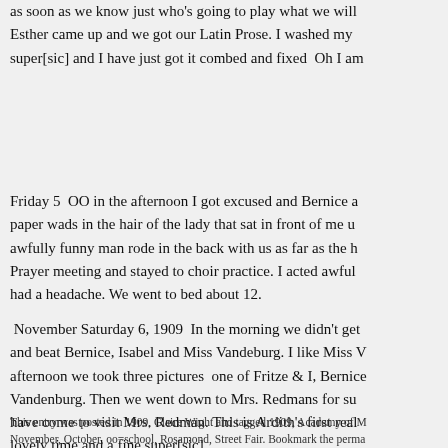as soon as we know just who's going to play what we will Esther came up and we got our Latin Prose. I washed my super[sic] and I have just got it combed and fixed  Oh I am
Friday 5  OO in the afternoon I got excused and Bernice a paper wads in the hair of the lady that sat in front of me u awfully funny man rode in the back with us as far as the h Prayer meeting and stayed to choir practice. I acted awful had a headache. We went to bed about 12.
November Saturday 6, 1909  In the morning we didn't get and beat Bernice, Isabel and Miss Vandeburg. I like Miss V afternoon we took three pictures  one of Fritze & I, Bernice Vandenburg. Then we went down to Mrs. Redmans for su have come to visit Mrs. Redman. This is Ardith's first real lovely time and a fine super[sic].
This entry was posted in 1909, Claire Wight and tagged 1909, Academy of M November, October, oo=school, Rosamond, Street Fair. Bookmark the perma